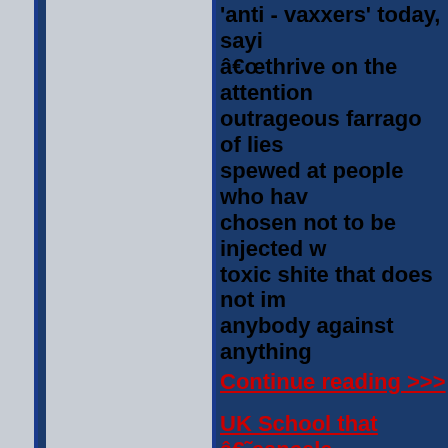'anti - vaxxers' today, saying â€œthrive on the attention outrageous farrago of lies spewed at people who have chosen not to be injected w toxic shite that does not im anybody against anything
Continue reading >>>
UK School that â€˜cancelled' Rowling as a role model ov transgender views replaces Olympic athlete who has e views
Managers and senior teac exclusive Boswell's School Chelmsford, UK faced a w